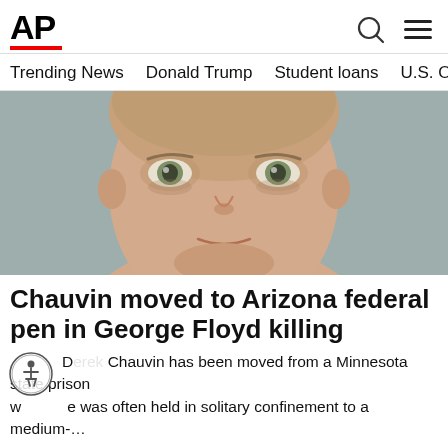AP
Trending News  Donald Trump  Student loans  U.S. Open Tenn
[Figure (photo): Close-up mugshot photograph of Derek Chauvin, a white male with light hair and green eyes, against a grey background.]
Chauvin moved to Arizona federal pen in George Floyd killing
Derek Chauvin has been moved from a Minnesota state prison where he was often held in solitary confinement to a medium-…
AP  Yesterday